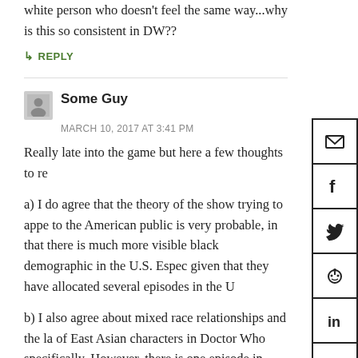white person who doesn't feel the same way...why is this so consistent in DW??
↳ REPLY
Some Guy
MARCH 10, 2017 AT 3:41 PM
Really late into the game but here a few thoughts to re
a) I do agree that the theory of the show trying to appe to the American public is very probable, in that there is much more visible black demographic in the U.S. Espec given that they have allocated several episodes in the U
b) I also agree about mixed race relationships and the la of East Asian characters in Doctor Who specifically. However, there is one episode in Season 4 of the reboot that poorly incorporates Chinese/Asian aesthetic into the